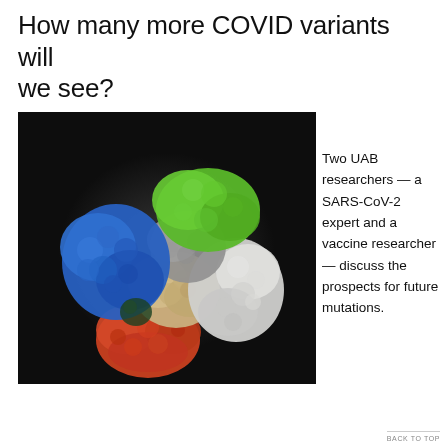How many more COVID variants will we see?
[Figure (photo): 3D molecular model of SARS-CoV-2 spike protein with multiple subunits shown in different colors (blue, green, gray, tan/beige, white, red/orange) against a dark background.]
Two UAB researchers — a SARS-CoV-2 expert and a vaccine researcher — discuss the prospects for future mutations.
BACK TO TOP